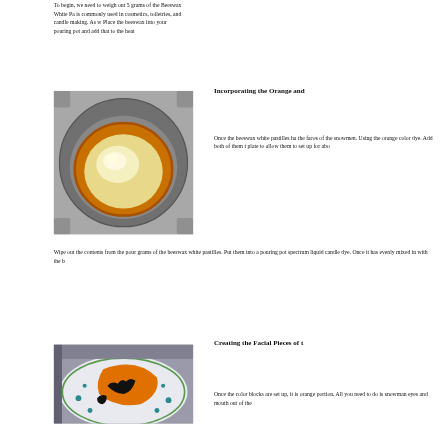To begin, we need to weigh out 5 grams of the Beeswax White Pa... is commonly used in cosmetics, toiletries, and candle making. As w... Place the beeswax into your pouring pot and add that to the heat...
Incorporating the Orange and...
[Figure (photo): A close-up photo of melted wax in a metallic pouring pot with an orange/golden hue, viewed from above.]
Once the beeswax white pastilles ha... the faces of the snowmen. Using the... orange color dye. Add both of them t... plate to allow them to set up for abo...
Wipe out the contents from the pour... grams of the beeswax white pastilles. Put them into a pouring pot... spectrum liquid candle dye. Once it has evenly mixed in with the b...
Creating the Facial Pieces of t...
[Figure (photo): A photo of a decorative plate with orange and black wax color blocks shaped into facial pieces for snowmen.]
Once the color blocks are set up, it is... orange portion. All you need to do is... snowman eyes and mouth out of the...